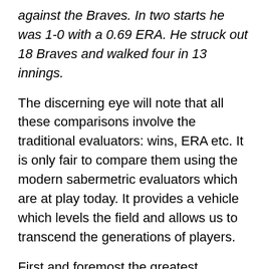against the Braves. In two starts he was 1-0 with a 0.69 ERA. He struck out 18 Braves and walked four in 13 innings.
The discerning eye will note that all these comparisons involve the traditional evaluators: wins, ERA etc. It is only fair to compare them using the modern sabermetric evaluators which are at play today. It provides a vehicle which levels the field and allows us to transcend the generations of players.
First and foremost the greatest difference between the baseball eras is innings pitched. When Sandy Koufax took the ball every fourth game (not fifth), a large part of his job was to finish the job…Pitch nine innings. When Koufax broke in, bullpens were largely comprised of pitchers who could no longer complete games.